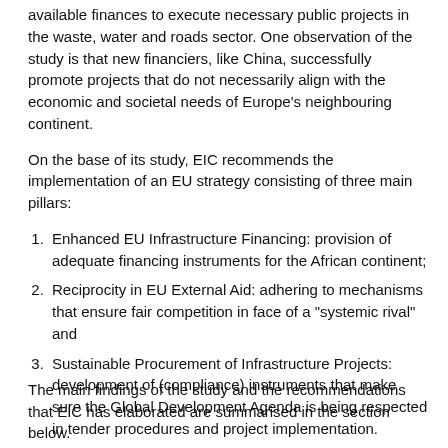available finances to execute necessary public projects in the waste, water and roads sector. One observation of the study is that new financiers, like China, successfully promote projects that do not necessarily align with the economic and societal needs of Europe's neighbouring continent.
On the base of its study, EIC recommends the implementation of an EU strategy consisting of three main pillars:
Enhanced EU Infrastructure Financing: provision of adequate financing instruments for the African continent;
Reciprocity in EU External Aid: adhering to mechanisms that ensure fair competition in face of a "systemic rival" and
Sustainable Procurement of Infrastructure Projects: development of (compliance) instruments that make sure the Global Development Agenda is being respected in tender procedures and project implementation.
The main findings of the study and the recommendations that EIC has elaborated are summarised in the section below.